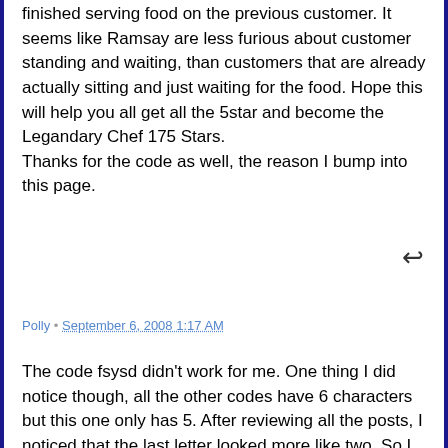finished serving food on the previous customer. It seems like Ramsay are less furious about customer standing and waiting, than customers that are already actually sitting and just waiting for the food. Hope this will help you all get all the 5star and become the Legandary Chef 175 Stars.
Thanks for the code as well, the reason I bump into this page.
Polly • September 6, 2008 1:17 AM
The code fsysd didn't work for me. One thing I did notice though, all the other codes have 6 characters but this one only has 5. After reviewing all the posts, I noticed that the last letter looked more like two. So I tried that and it worked!! The last letter is not a d. The actual code is fsys c l without the spaces (of course).